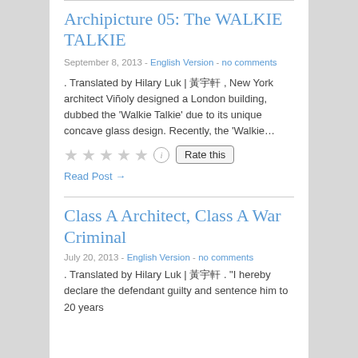Archipicture 05: The WALKIE TALKIE
September 8, 2013  -  English Version  -  no comments
. Translated by Hilary Luk |  黃宇軒 ,  New York architect Viñoly designed a London building, dubbed the 'Walkie Talkie' due to its unique concave glass design. Recently, the 'Walkie…
Read Post →
Class A Architect, Class A War Criminal
July 20, 2013  -  English Version  -  no comments
. Translated by Hilary Luk |  黃宇軒 .  "I hereby declare the defendant guilty and sentence him to 20 years